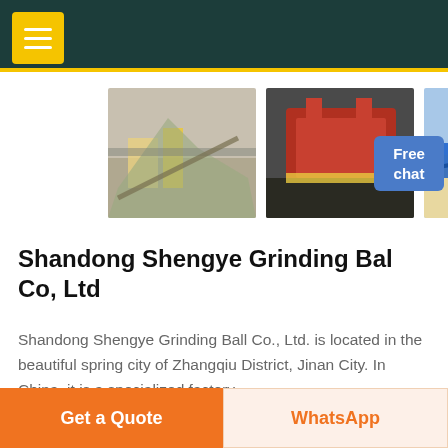Navigation menu header with dark teal background and hamburger menu button
[Figure (photo): Three photos of mining/quarry machinery equipment — crushed stone site with conveyor, red crushing machine, blue conveyor equipment on sandy ground]
Shandong Shengye Grinding Bal Co, Ltd
Shandong Shengye Grinding Ball Co., Ltd. is located in the beautiful spring city of Zhangqiu District, Jinan City. In China, it is a specialized factory specializing in the production of forged grinding b...
Get a Quote | WhatsApp